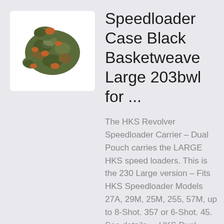[Figure (photo): Product photo of an HKS Revolver Speedloader Case in Black Basketweave pattern, showing a dual pouch carrier with camouflage-like dark green and brown coloring, displayed against a white background.]
Speedloader Case Black Basketweave Large 203bwl for ...
The HKS Revolver Speedloader Carrier – Dual Pouch carries the LARGE HKS speed loaders. This is the 230 Large version – Fits HKS Speedloader Models 27A, 29M, 25M, 255, 57M, up to 8-Shot. 357 or 6-Shot. 45. See details. – HKS Dual Speedloader Carrier